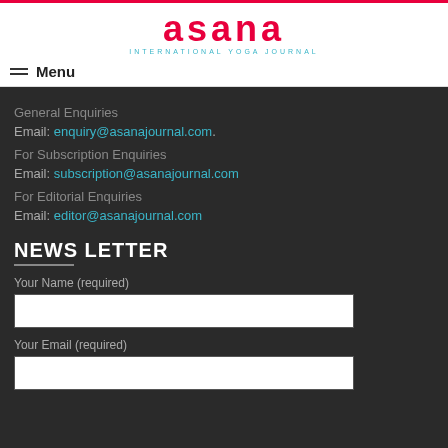asana INTERNATIONAL YOGA JOURNAL
Menu
General Enquiries
Email: enquiry@asanajournal.com.
For Subscription Enquiries
Email: subscription@asanajournal.com
For Editorial Enquiries
Email: editor@asanajournal.com
NEWS LETTER
Your Name (required)
Your Email (required)